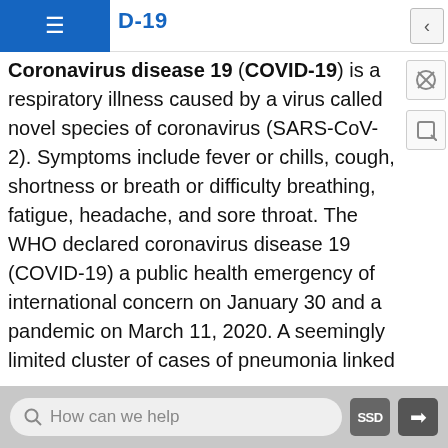D-19
Coronavirus disease 19 (COVID-19) is a respiratory illness caused by a virus called novel species of coronavirus (SARS-CoV-2). Symptoms include fever or chills, cough, shortness or breath or difficulty breathing, fatigue, headache, and sore throat. The WHO declared coronavirus disease 19 (COVID-19) a public health emergency of international concern on January 30 and a pandemic on March 11, 2020. A seemingly limited cluster of cases of pneumonia linked to a sea food market in Wuhan, China has become one of the worst pandemics in human history with a staggering number of more than 90.2 million infections in 177 countries and 1.9 million deaths globally as of January 10, 2021 (figure 15.3.a). This
How can we help